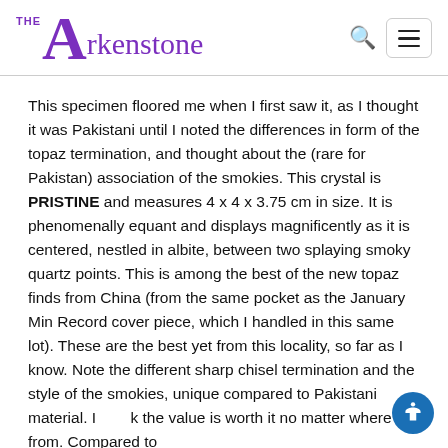THE Arkenstone
This specimen floored me when I first saw it, as I thought it was Pakistani until I noted the differences in form of the topaz termination, and thought about the (rare for Pakistan) association of the smokies. This crystal is PRISTINE and measures 4 x 4 x 3.75 cm in size. It is phenomenally equant and displays magnificently as it is centered, nestled in albite, between two splaying smoky quartz points. This is among the best of the new topaz finds from China (from the same pocket as the January Min Record cover piece, which I handled in this same lot). These are the best yet from this locality, so far as I know. Note the different sharp chisel termination and the style of the smokies, unique compared to Pakistani material. I think the value is worth it no matter where its from. Compared to